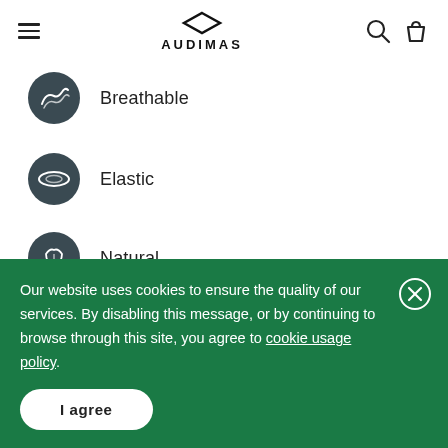[Figure (logo): Audimas logo with hamburger menu, search icon, and shopping bag icon in the page header]
Breathable
Elastic
Natural
Item code 2211-056
Materials
Our website uses cookies to ensure the quality of our services. By disabling this message, or by continuing to browse through this site, you agree to cookie usage policy.